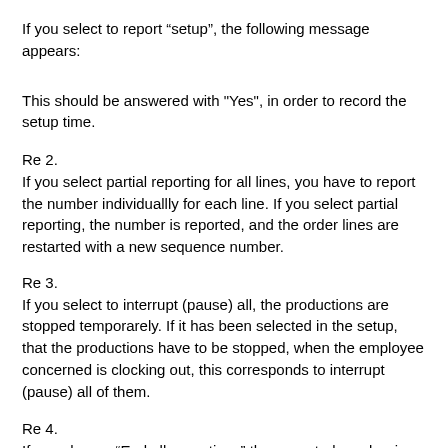If you select to report “setup”, the following message appears:
This should be answered with "Yes", in order to record the setup time.
Re 2.
If you select partial reporting for all lines, you have to report the number individuallly for each line. If you select partial reporting, the number is reported, and the order lines are restarted with a new sequence number.
Re 3.
If you select to interrupt (pause) all, the productions are stopped temporarely. If it has been selected in the setup, that the productions have to be stopped, when the employee concerned is clocking out, this corresponds to interrupt (pause) all of them.
Re 4.
If you choose “End all operations” the expected number is filled in automatically. For each line this number can be changed, and the number of discared items/scrap, as well as